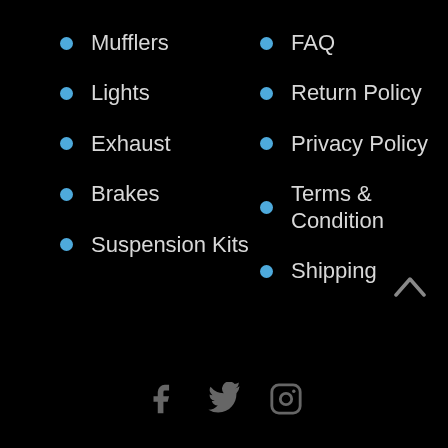Mufflers
Lights
Exhaust
Brakes
Suspension Kits
FAQ
Return Policy
Privacy Policy
Terms & Condition
Shipping
[Figure (illustration): Up arrow chevron icon in grey, positioned bottom right]
[Figure (illustration): Social media icons: Facebook, Twitter, Instagram in grey at bottom center]